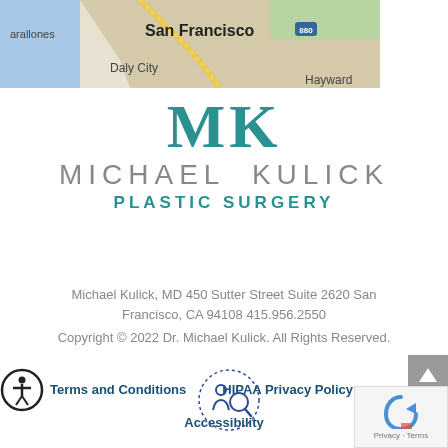[Figure (map): Google Maps partial view showing San Francisco Bay Area with labels: arallones, San Francisco, Daly City, 880, Hayward]
[Figure (logo): Michael Kulick Plastic Surgery logo with teal MK monogram letters and gray MICHAEL KULICK text with teal PLASTIC SURGERY subtitle]
Michael Kulick, MD 450 Sutter Street Suite 2620 San Francisco, CA 94108 415.956.2550
Copyright © 2022 Dr. Michael Kulick. All Rights Reserved.
Terms and Conditions    HIPAA Privacy Policy
Accessibility
[Figure (logo): Circular dotted accessibility badge icon with person and magnifying glass symbol]